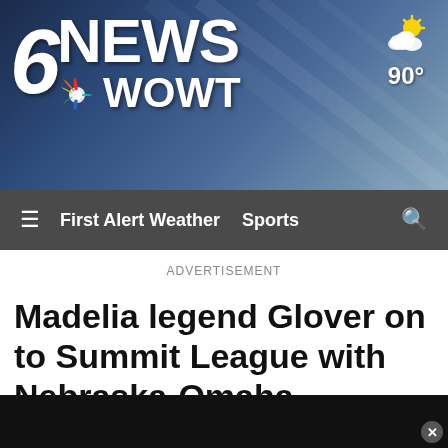[Figure (logo): 6 NEWS WOWT NBC affiliate logo on blue-grey gradient background with weather widget showing 90 degrees and partly cloudy]
≡  First Alert Weather  Sports  🔍
ADVERTISEMENT
Madelia legend Glover on to Summit League with Nebraska-Omaha
[Figure (photo): Dark partially visible news photo at bottom of page]